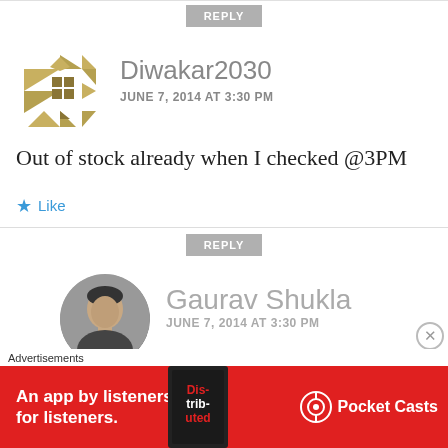REPLY
[Figure (logo): Geometric abstract avatar with golden/khaki diamond and triangle shapes arranged in a star/snowflake pattern]
Diwakar2030
JUNE 7, 2014 AT 3:30 PM
Out of stock already when I checked @3PM
Like
REPLY
[Figure (photo): Circular avatar photo showing a man's face, grayscale/dark toned]
Gaurav Shukla
JUNE 7, 2014 AT 3:30 PM (partial)
Advertisements
[Figure (infographic): Red Pocket Casts advertisement banner: An app by listeners, for listeners.]